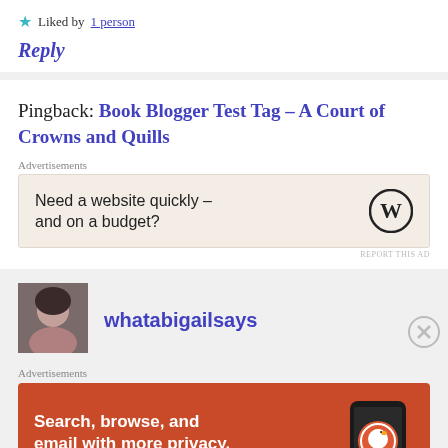★ Liked by 1 person
Reply
Pingback: Book Blogger Test Tag – A Court of Crowns and Quills
Advertisements
[Figure (other): WordPress advertisement: Need a website quickly – and on a budget? with WordPress logo]
REPORT THIS AD
[Figure (photo): Avatar photo of user whatabigailsays]
whatabigailsays
Advertisements
[Figure (other): DuckDuckGo advertisement: Search, browse, and email with more privacy. All in One Free App]
REPORT THIS AD